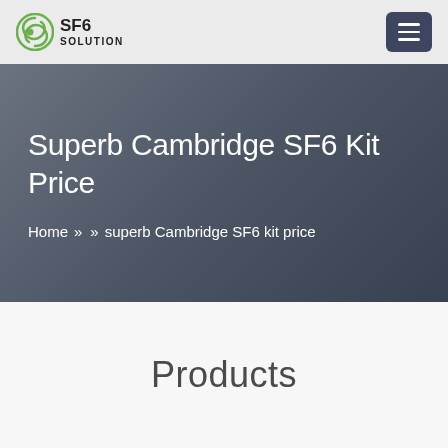SF6 SOLUTION
Superb Cambridge SF6 Kit Price
Home » » superb Cambridge SF6 kit price
Products